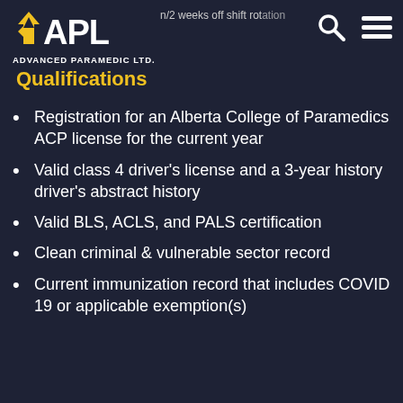APL Advanced Paramedic Ltd. — n/2 weeks off shift rotation
Qualifications
Registration for an Alberta College of Paramedics ACP license for the current year
Valid class 4 driver's license and a 3-year history driver's abstract history
Valid BLS, ACLS, and PALS certification
Clean criminal & vulnerable sector record
Current immunization record that includes COVID 19 or applicable exemption(s)